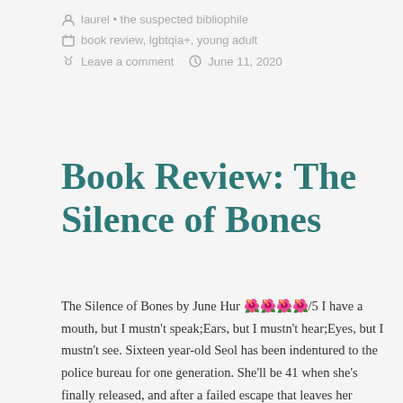laurel • the suspected bibliophile
book review, lgbtqia+, young adult
Leave a comment   June 11, 2020
Book Review: The Silence of Bones
The Silence of Bones by June Hur 🌺🌺🌺🌺/5 I have a mouth, but I mustn't speak;Ears, but I mustn't hear;Eyes, but I mustn't see. Sixteen year-old Seol has been indentured to the police bureau for one generation. She'll be 41 when she's finally released, and after a failed escape that leaves her branded, she's nearly …